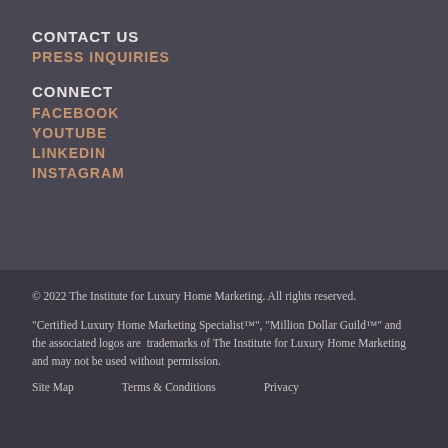CONTACT US
PRESS INQUIRIES
CONNECT
FACEBOOK
YOUTUBE
LINKEDIN
INSTAGRAM
© 2022 The Institute for Luxury Home Marketing. All rights reserved.
"Certified Luxury Home Marketing Specialist™", "Million Dollar Guild™" and the associated logos are  trademarks of The Institute for Luxury Home Marketing and may not be used without permission.
Site Map     Terms & Conditions     Privacy